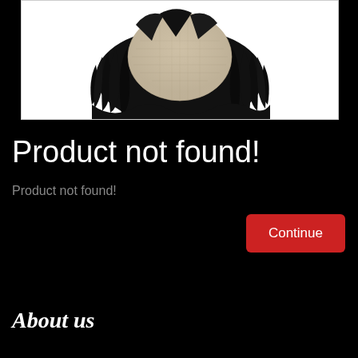[Figure (photo): A hair toupee/wig piece shown from above against a white background, with black wavy hair surrounding a light beige base cap.]
Product not found!
Product not found!
Continue
About us